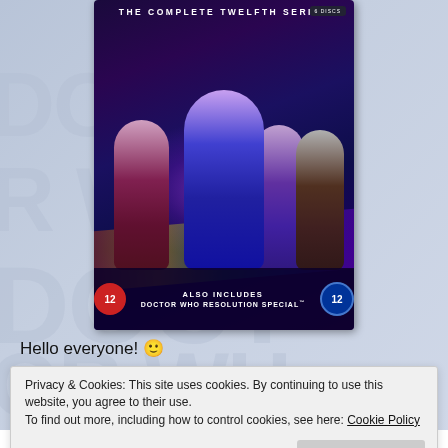[Figure (photo): Doctor Who: The Complete Twelfth Series DVD box set cover. Shows the Doctor (woman in blue dress) in the center with three companions behind her against a purple cosmic background. Includes 'Also Includes Doctor Who Resolution Special' text and 12 rating badges.]
Hello everyone! 🙂
Privacy & Cookies: This site uses cookies. By continuing to use this website, you agree to their use.
To find out more, including how to control cookies, see here: Cookie Policy
Close and accept
Bradley Walsh as Graham, Tosin Cole as Ryan and Mandip